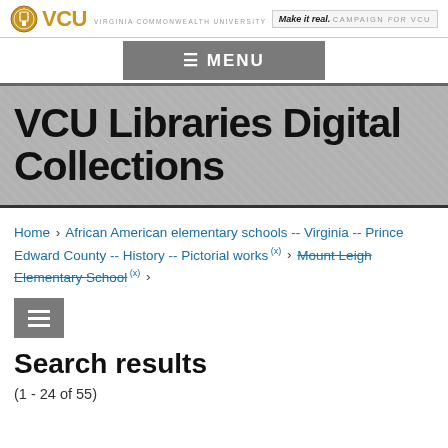VCU — VIRGINIA COMMONWEALTH UNIVERSITY | Make it real. CAMPAIGN FOR VCU
[Figure (logo): VCU logo with gold circular seal icon and VCU text in gold]
≡ MENU
VCU Libraries Digital Collections
Home › African American elementary schools -- Virginia -- Prince Edward County -- History -- Pictorial works (x) › Mount Leigh Elementary School (x) ›
[Figure (other): Gray filter/menu icon button with three horizontal lines]
Search results
(1 - 24 of 55)